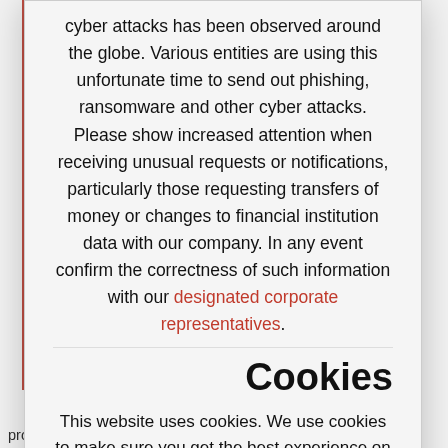cyber attacks has been observed around the globe. Various entities are using this unfortunate time to send out phishing, ransomware and other cyber attacks. Please show increased attention when receiving unusual requests or notifications, particularly those requesting transfers of money or changes to financial institution data with our company. In any event confirm the correctness of such information with our designated corporate representatives.
Cookies
This website uses cookies. We use cookies to make sure you get the best experience on our website. Please read our privacy and cookie policy